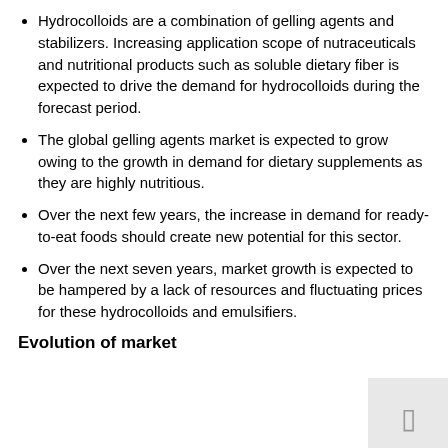Hydrocolloids are a combination of gelling agents and stabilizers. Increasing application scope of nutraceuticals and nutritional products such as soluble dietary fiber is expected to drive the demand for hydrocolloids during the forecast period.
The global gelling agents market is expected to grow owing to the growth in demand for dietary supplements as they are highly nutritious.
Over the next few years, the increase in demand for ready-to-eat foods should create new potential for this sector.
Over the next seven years, market growth is expected to be hampered by a lack of resources and fluctuating prices for these hydrocolloids and emulsifiers.
Evolution of market